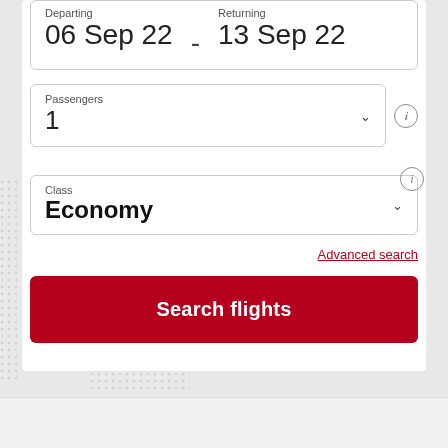Departing: 06 Sep 22 - Returning: 13 Sep 22
Passengers: 1
Class: Economy
Advanced search
Search flights